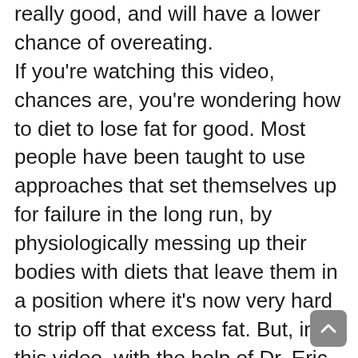really good, and will have a lower chance of overeating. If you're watching this video, chances are, you're wondering how to diet to lose fat for good. Most people have been taught to use approaches that set themselves up for failure in the long run, by physiologically messing up their bodies with diets that leave them in a position where it's now very hard to strip off that excess fat. But, in this video, with the help of Dr. Eric Trexler, pro body-builder and PhD researcher, I'm going to show you exactly how to diet properly so you can undo the damage you may have done from your previous dieting attempts (i.e. maintenance calories are too low) and break through your weight loss plateau. I'll also show you how to keep the weight off after you come out of the...